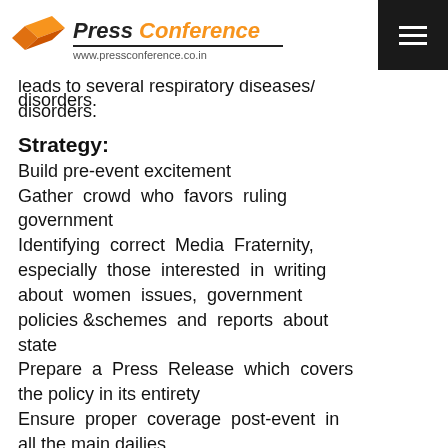Press Conference www.pressconference.co.in
women from directing fuel, equals burning of 400 cigarettes in an hour & effects their health and leads to several respiratory diseases/disorders.
Strategy:
Build pre-event excitement
Gather crowd who favors ruling government
Identifying correct Media Fraternity, especially those interested in writing about women issues, government policies &schemes and reports about state
Prepare a Press Release which covers the policy in its entirety
Ensure proper coverage post-event in all the main dailies
Working Methodology:
PMUY is a government project and is basically aimed at improving the quality